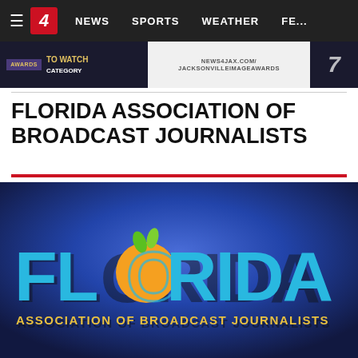≡  4  NEWS  SPORTS  WEATHER  FE...
[Figure (screenshot): Advertisement banner for News4Jax Jacksonville Image Awards with text: AWARDS, TO WATCH CATEGORY, NEWS4JAX.COM/JACKSONVILLEIMAGEAWARDS]
FLORIDA ASSOCIATION OF BROADCAST JOURNALISTS
[Figure (logo): Florida Association of Broadcast Journalists logo on blue radial gradient background. Large stylized text FLORIDA with cyan/blue letters and an orange circle with green leaves above the O. Below reads ASSOCIATION OF BROADCAST JOURNALISTS in yellow/gold text.]